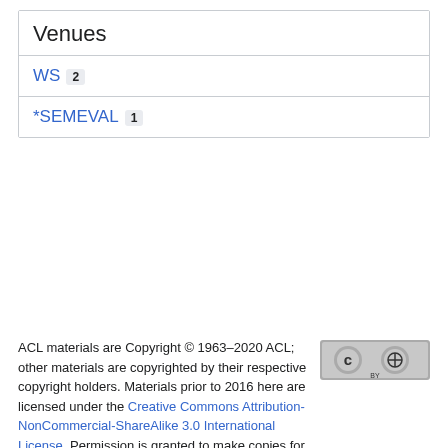Venues
WS 2
*SEMEVAL 1
ACL materials are Copyright © 1963–2020 ACL; other materials are copyrighted by their respective copyright holders. Materials prior to 2016 here are licensed under the Creative Commons Attribution-NonCommercial-ShareAlike 3.0 International License. Permission is granted to make copies for the purposes of teaching and research. Materials published in or after 2016 are licensed on a Creative Commons Attribution 4.0 International License.
The ACL Anthology is managed and built by the ACL Anthology team of volunteers.
Site last built on 07 December 2020 at 07:52 UTC with commit f2af9e84.